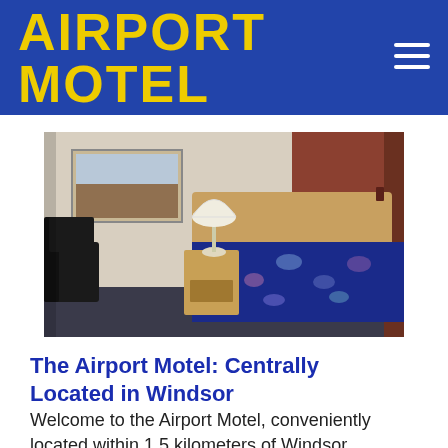AIRPORT MOTEL
[Figure (photo): Interior photo of a motel room showing a bed with a blue floral bedspread, a wooden nightstand with a white lamp, a black chair on the left, a landscape painting on the wall, and a reddish-brown accent wall on the right.]
The Airport Motel: Centrally Located in Windsor
Welcome to the Airport Motel, conveniently located within 1.5 kilometers of Windsor Airport. We are a full-service motel offering the amenities